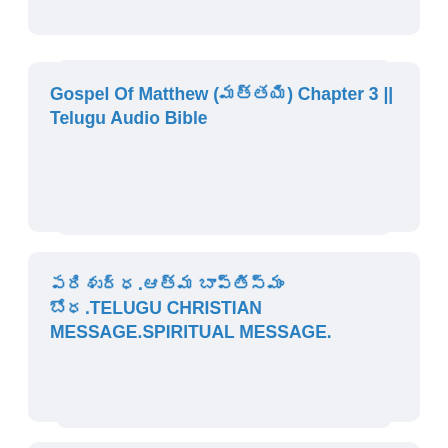Gospel Of Matthew (మత్తయి) Chapter 3 || Telugu Audio Bible
పరిశుద్ధ.ఆత్మ బాప్తిస్మం బోధ.TELUGU CHRISTIAN MESSAGE.SPIRITUAL MESSAGE.
Telugu Book of Genesis Chapter 4
|| ఆదికాండము 49వ అధ్యాయం || తెలుగు బైబిల్ || TELUGU AUDIO BIBLE || REAL GOSPEL AUDIO BIBLES ||